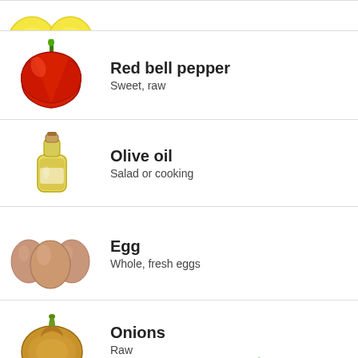[Figure (photo): Partial view of yellow citrus fruit at the top]
[Figure (photo): Red bell pepper image]
Red bell pepper
Sweet, raw
[Figure (photo): Bottle of olive oil image]
Olive oil
Salad or cooking
[Figure (photo): Three brown eggs image]
Egg
Whole, fresh eggs
[Figure (photo): Brown onion image]
Onions
Raw
[Figure (illustration): Smiling orange cartoon mascot]
Try our free Diet Generator
[collapse]
I want to eat 1500 calories in 4 meals.
Generate